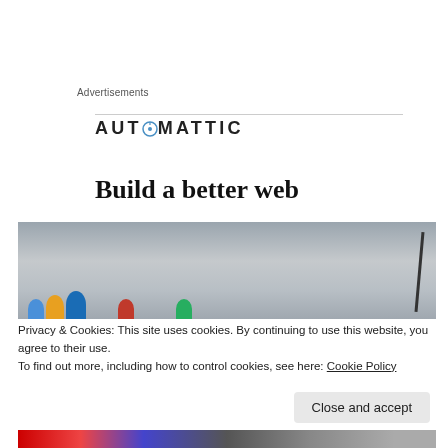Advertisements
[Figure (logo): Automattic logo with compass icon replacing the letter O]
Build a better web
[Figure (photo): Grayscale snowy mountain scene with colorful cartoon character figures at the bottom]
Privacy & Cookies: This site uses cookies. By continuing to use this website, you agree to their use.
To find out more, including how to control cookies, see here: Cookie Policy
Close and accept
[Figure (photo): Partial bottom image showing colorful crowd or group scene]